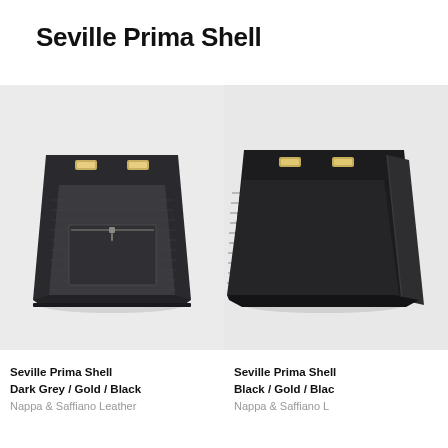Seville Prima Shell
[Figure (photo): Front view of Seville Prima Shell bag in Dark Grey / Gold / Black — a structured tote with saffiano leather front pocket and gold hardware clasps]
Seville Prima Shell
Dark Grey / Gold / Black
Nappa & Saffiano Leather
[Figure (photo): Partial side/front view of Seville Prima Shell bag in Black / Gold / Black — showing edge and front panel]
Seville Prima Shell
Black / Gold / Black
Nappa & Saffiano Leather